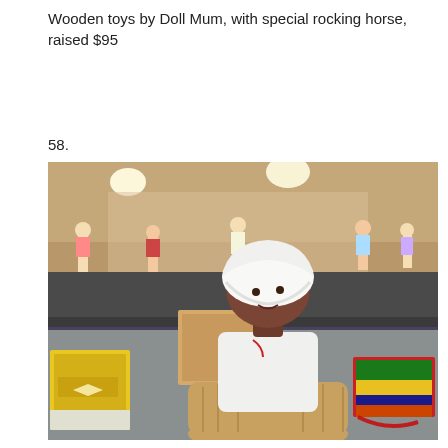Wooden toys by Doll Mum, with special rocking horse, raised $95
58.
[Figure (photo): A doll display room with tables covered in dark tablecloths showing various dolls on display. In the foreground, a dark-skinned doll wearing a white bonnet and white dress is seated in a wicker basket on a grey table. To the left is a yellow book/box, and to the right are colorful folded fabrics. A 'Sasha' labeled box is visible near the doll.]